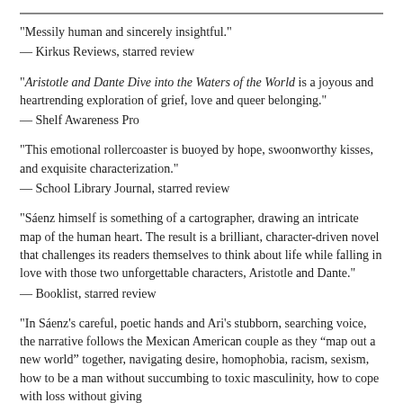"Messily human and sincerely insightful."
— Kirkus Reviews, starred review
"Aristotle and Dante Dive into the Waters of the World is a joyous and heartrending exploration of grief, love and queer belonging."
— Shelf Awareness Pro
"This emotional rollercoaster is buoyed by hope, swoonworthy kisses, and exquisite characterization."
— School Library Journal, starred review
"Sáenz himself is something of a cartographer, drawing an intricate map of the human heart. The result is a brilliant, character-driven novel that challenges its readers themselves to think about life while falling in love with those two unforgettable characters, Aristotle and Dante."
— Booklist, starred review
"In Sáenz's careful, poetic hands and Ari's stubborn, searching voice, the narrative follows the Mexican American couple as they “map out a new world” together, navigating desire, homophobia, racism, sexism, how to be a man without succumbing to toxic masculinity, how to cope with loss without giving